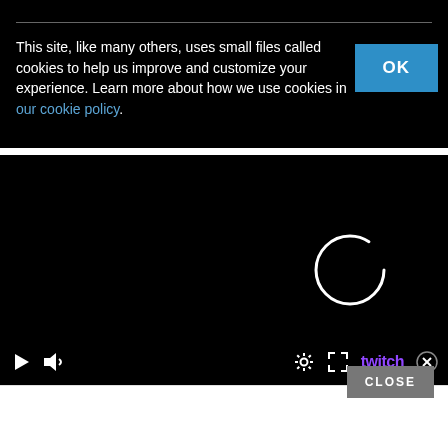This site, like many others, uses small files called cookies to help us improve and customize your experience. Learn more about how we use cookies in our cookie policy.
[Figure (screenshot): A video player embedded on a webpage showing a black screen with player controls (play button, volume icon, settings gear, fullscreen icon) and a Twitch logo. A loading spinner (partial circle) is visible in the lower-right panel area. A cookie consent banner overlays the top with an OK button. A CLOSE button appears near the bottom right.]